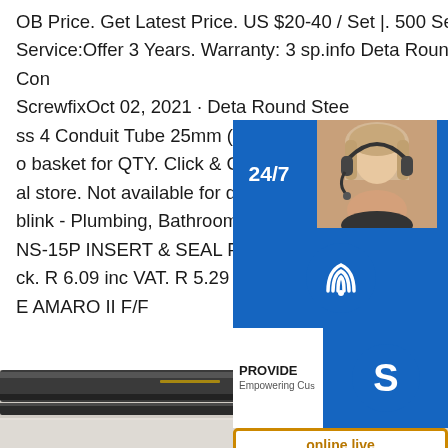OB Price. Get Latest Price. US $20-40 / Set | 500 Sets (Min. Order) After-sales Service:Offer 3 Years. Warranty: 3 sp.info Deta Round Steel Galvanised Class 4 Conduit ScrewfixOct 02, 2021 · Deta Round Steel Galvanised Class 4 Conduit Tube 25mm (7442J) £ 12 .0 o basket for QTY. Click & Collect. Check al store. Not available for delivery. 360° V blink - Plumbing, Bathroom & Kitchenwa NS-15P INSERT & SEAL FOR PEX PIPE ck. R 6.09 inc VAT. R 5.29 ex VAT. Each E AMARO II F/F
[Figure (infographic): Customer service widget overlay with 24/7 label, headset agent photo, phone icon button (blue), Skype icon button (blue), PROVIDE Empowering Customers text, and online live button]
[Figure (photo): Photo of dark steel conduit tube/pipe resting on a flat grey surface, viewed from the side]